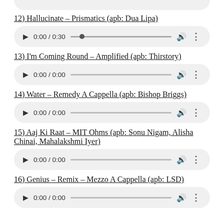[Figure (screenshot): Partial audio player pill at top of page]
12) Hallucinate – Prismatics (apb: Dua Lipa)
[Figure (screenshot): Audio player showing 0:00 / 0:30 with progress dot]
13) I'm Coming Round – Amplified (apb: Thirstory)
[Figure (screenshot): Audio player showing 0:00 / 0:00]
14) Water – Remedy A Cappella (apb: Bishop Briggs)
[Figure (screenshot): Audio player showing 0:00 / 0:00]
15) Aaj Ki Raat – MIT Ohms (apb: Sonu Nigam, Alisha Chinai, Mahalakshmi Iyer)
[Figure (screenshot): Audio player showing 0:00 / 0:00]
16) Genius – Remix – Mezzo A Cappella (apb: LSD)
[Figure (screenshot): Audio player showing 0:00 / 0:00]